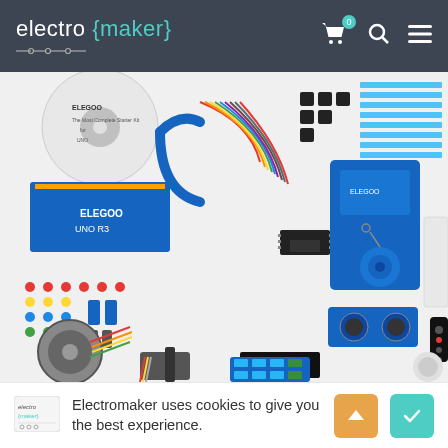electromaker navigation bar with logo, cart, search and menu icons
[Figure (photo): ELEGOO UNO R3 Arduino starter kit product photo showing components: Arduino board, jumper wires, USB cable, breadboard, sensors, LEDs, capacitors, resistors, remote control, servo motor, keypad, RFID module, ultrasonic sensor, 7-segment display, and various electronic components laid out on a white background]
Electromaker uses cookies to give you the best experience.